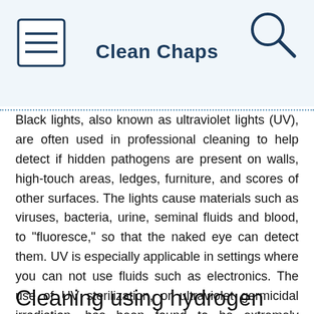Clean Chaps
Black lights, also known as ultraviolet lights (UV), are often used in professional cleaning to help detect if hidden pathogens are present on walls, high-touch areas, ledges, furniture, and scores of other surfaces. The lights cause materials such as viruses, bacteria, urine, seminal fluids and blood, to "fluoresce," so that the naked eye can detect them. UV is especially applicable in settings where you can not use fluids such as electronics. The use of UV sterilization, or ultraviolet germicidal irradiation, has been found to be extremely effective. Sources of UV sterilization can kill over 99% of viruses, bacteria, and fungi in an extremely short amount of time.
Cleaning using hydrogen peroxide